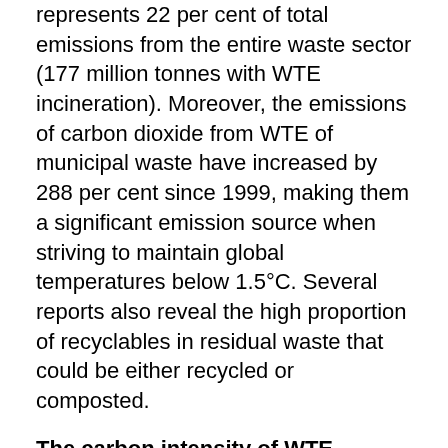represents 22 per cent of total emissions from the entire waste sector (177 million tonnes with WTE incineration). Moreover, the emissions of carbon dioxide from WTE of municipal waste have increased by 288 per cent since 1999, making them a significant emission source when striving to maintain global temperatures below 1.5°C. Several reports also reveal the high proportion of recyclables in residual waste that could be either recycled or composted.
The carbon intensity of WTE
In the power sector, decarbonisation is gaining pace. In 2018, 32 per cent of all electricity produced in the EU came from renewables. Similarly, the average carbon intensity of EU electricity has been continually falling due to the increasing uptake of renewables. In 2018, it stood at 296g CO2eq/kWh.
However, the carbon intensity of electricity produced